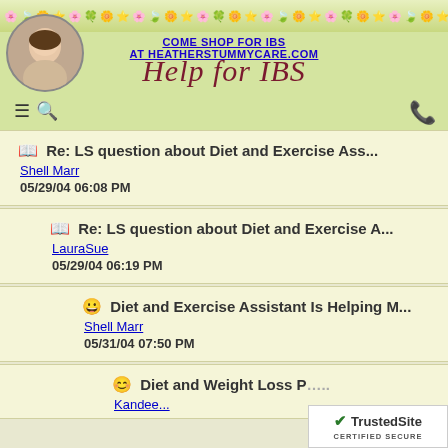COME SHOP FOR IBS AT HEATHERSTUMMYCARE.COM
[Figure (logo): Help for IBS cursive logo with portrait photo]
📖 Re: LS question about Diet and Exercise Ass... | Shell Marr | 05/29/04 06:08 PM
📖 Re: LS question about Diet and Exercise A... | LauraSue | 05/29/04 06:19 PM
😀 Diet and Exercise Assistant Is Helping M... | Shell Marr | 05/31/04 07:50 PM
😊 Diet and Weight Loss P... | Kandee...
[Figure (logo): TrustedSite Certified Secure badge]